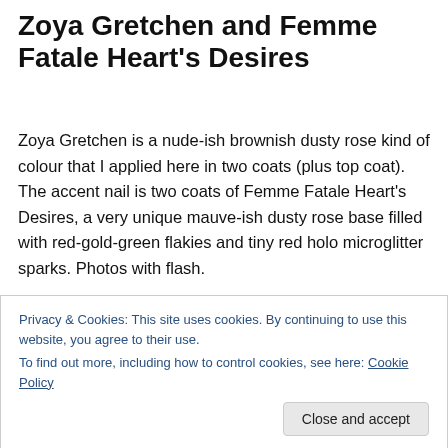Zoya Gretchen and Femme Fatale Heart's Desires
Zoya Gretchen is a nude-ish brownish dusty rose kind of colour that I applied here in two coats (plus top coat). The accent nail is two coats of Femme Fatale Heart's Desires, a very unique mauve-ish dusty rose base filled with red-gold-green flakies and tiny red holo microglitter sparks. Photos with flash.
[Figure (photo): Close-up photo of fingernails with nail polish, showing a dark background with skin tones and a Vegan Colour watermark/logo in white italic text on the left side.]
Privacy & Cookies: This site uses cookies. By continuing to use this website, you agree to their use.
To find out more, including how to control cookies, see here: Cookie Policy
Close and accept